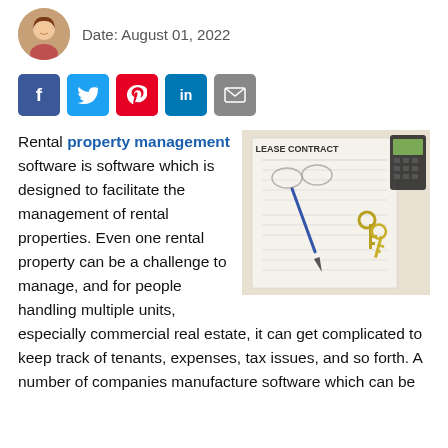Date: August 01, 2022
[Figure (infographic): Social media share buttons: Facebook (blue), Twitter (light blue), Pinterest (red), LinkedIn (blue), Email (gray)]
[Figure (photo): Photo of a lease contract document with keys and a pen on top, labeled LEASE CONTRACT]
Rental property management software is software which is designed to facilitate the management of rental properties. Even one rental property can be a challenge to manage, and for people handling multiple units, especially commercial real estate, it can get complicated to keep track of tenants, expenses, tax issues, and so forth. A number of companies manufacture software which can be used to manage rental properties.